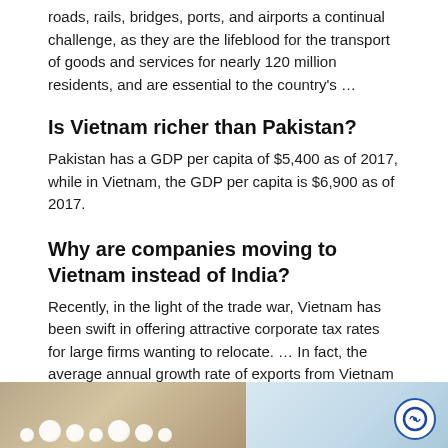roads, rails, bridges, ports, and airports a continual challenge, as they are the lifeblood for the transport of goods and services for nearly 120 million residents, and are essential to the country's …
Is Vietnam richer than Pakistan?
Pakistan has a GDP per capita of $5,400 as of 2017, while in Vietnam, the GDP per capita is $6,900 as of 2017.
Why are companies moving to Vietnam instead of India?
Recently, in the light of the trade war, Vietnam has been swift in offering attractive corporate tax rates for large firms wanting to relocate. … In fact, the average annual growth rate of exports from Vietnam have shown a growth of 3 per cent, while India showed a negative growth of 24 per cent during the same period.
[Figure (photo): Photograph of scattered white balls/spheres on a table surface, with a blue and white logo circle in the bottom right corner.]